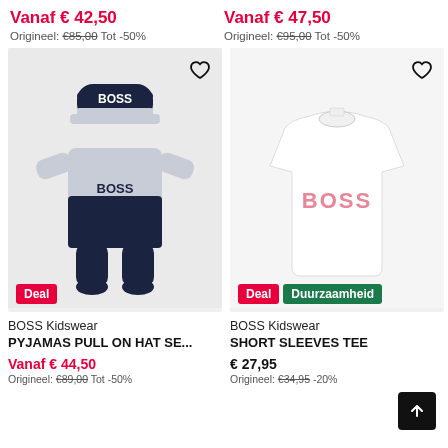Vanaf € 42,50
Origineel: €85,00 Tot -50%
Vanaf € 47,50
Origineel: €95,00 Tot -50%
[Figure (photo): BOSS Kidswear baby pyjama set with navy hat. Dark navy and grey sleepsuit with BOSS logo and matching beanie hat. Deal badge shown.]
[Figure (photo): BOSS Kidswear white short sleeve tee with pink BOSS logo on chest. Deal and Duurzaamheid badges shown.]
BOSS Kidswear
PYJAMAS PULL ON HAT SE...
Vanaf € 44,50
Origineel: €89,00 Tot -50%
BOSS Kidswear
SHORT SLEEVES TEE
€ 27,95
Origineel: €34,95 -20%